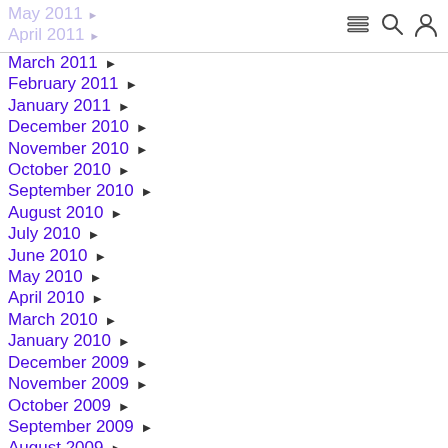May 2011 ▶ April 2011 ▶
March 2011 ▶
February 2011 ▶
January 2011 ▶
December 2010 ▶
November 2010 ▶
October 2010 ▶
September 2010 ▶
August 2010 ▶
July 2010 ▶
June 2010 ▶
May 2010 ▶
April 2010 ▶
March 2010 ▶
January 2010 ▶
December 2009 ▶
November 2009 ▶
October 2009 ▶
September 2009 ▶
August 2009 ▶
July 2009 ▶
May 2009 ▶
April 2009 ▶
March 2009 ▶
February 2009 ▶
January 2009 ▶